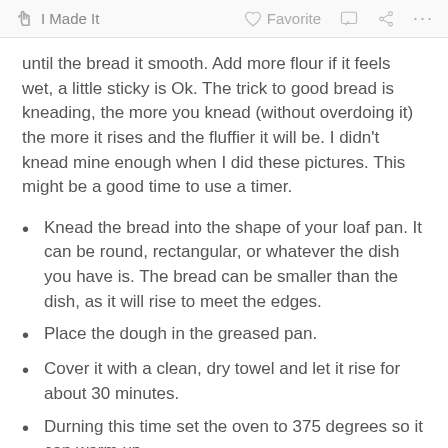I Made It   Favorite   [comment icon]   [share icon]   ...
until the bread it smooth. Add more flour if it feels wet, a little sticky is Ok. The trick to good bread is kneading, the more you knead (without overdoing it) the more it rises and the fluffier it will be. I didn't knead mine enough when I did these pictures. This might be a good time to use a timer.
Knead the bread into the shape of your loaf pan. It can be round, rectangular, or whatever the dish you have is. The bread can be smaller than the dish, as it will rise to meet the edges.
Place the dough in the greased pan.
Cover it with a clean, dry towel and let it rise for about 30 minutes.
Durning this time set the oven to 375 degrees so it can warm up.